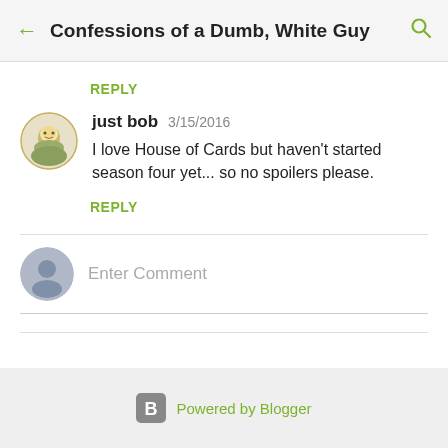Confessions of a Dumb, White Guy
REPLY
just bob  3/15/2016
I love House of Cards but haven't started season four yet... so no spoilers please.
REPLY
Enter Comment
Powered by Blogger